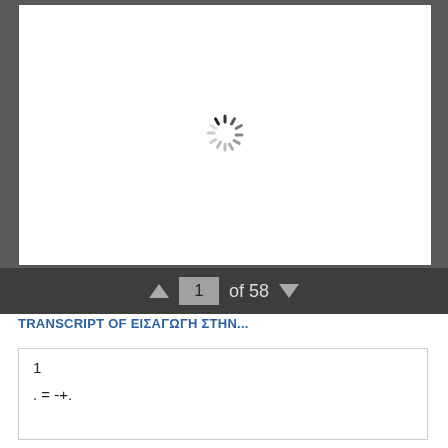[Figure (screenshot): Document viewer showing a white page with a loading spinner in the center, set against a dark grey background]
1 of 58
TRANSCRIPT OF ΕΙΣΑΓΩΓΗ ΣΤΗΝ...
1
. = -+.